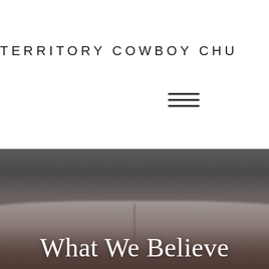TERRITORY COWBOY CHURCH
[Figure (other): Hamburger menu icon with three horizontal lines]
[Figure (photo): Blurred close-up photograph of an open Bible resting on a wooden surface, dark moody tones with grey and brown hues]
What We Believe